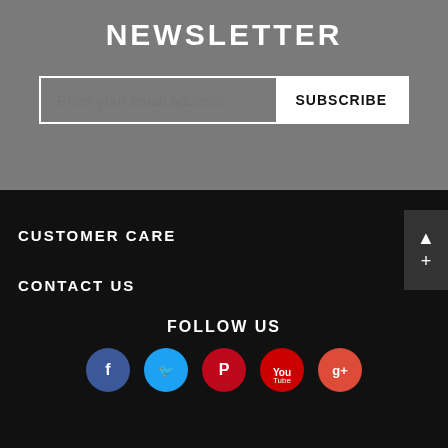NEWSLETTER
Enter your email address | SUBSCRIBE
CUSTOMER CARE
CONTACT US
FOLLOW US
[Figure (infographic): Social media icons: Facebook (blue circle), Twitter (cyan circle), Pinterest (red circle), YouTube (red circle), Google+ (orange-red circle)]
Copyright © 2019-2022 Lviv7 All Rights Reserved.